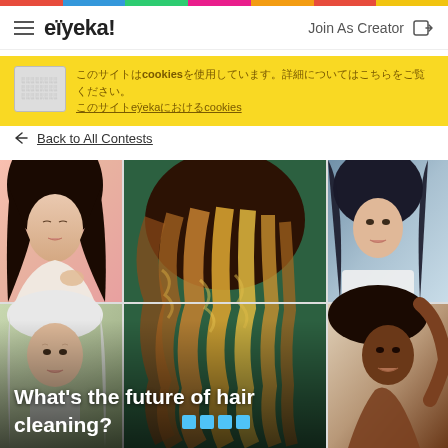eïyeka! | Join As Creator
【承認】 このサイトはcookiesを使用しています。詳細についてはこちらをご覧ください。eÿekaにおけるcookiesについて
← Back to All Contests
[Figure (photo): Collage of five women with various hair types and styles. Center large image shows wavy golden-brown ombre hair from behind. Top left: Asian woman with eyes closed touching dark curly hair against pink background. Top right: Woman with long dark hair against blue-grey background. Bottom left: Older woman with white hair. Bottom right: Black woman with natural hair. Overlay text: What's the future of hair cleaning? 🟦🟦🟦🟦]
What's the future of hair cleaning? □□□□